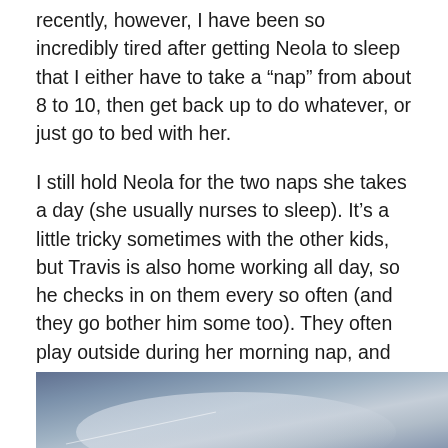recently, however, I have been so incredibly tired after getting Neola to sleep that I either have to take a “nap” from about 8 to 10, then get back up to do whatever, or just go to bed with her.
I still hold Neola for the two naps she takes a day (she usually nurses to sleep). It’s a little tricky sometimes with the other kids, but Travis is also home working all day, so he checks in on them every so often (and they go bother him some too). They often play outside during her morning nap, and the girls usually watch a show during her afternoon nap (which is when Corbin is also napping 🤲).
[Figure (photo): Partial photo with blue-grey gradient sky background, likely outdoor scene, image cropped at bottom of page]